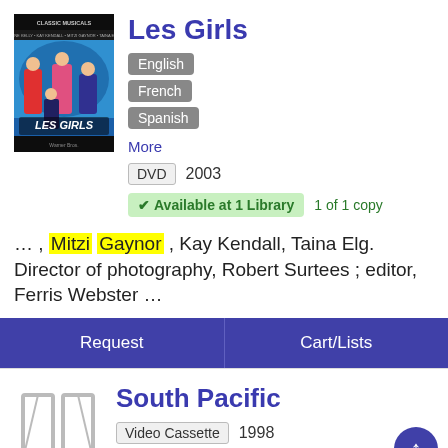[Figure (illustration): DVD cover for Les Girls showing three women and a man in a colorful movie poster style]
Les Girls
English
French
Spanish
More
DVD  2003
Available at 1 Library  1 of 1 copy
… , Mitzi Gaynor , Kay Kendall, Taina Elg. Director of photography, Robert Surtees ; editor, Ferris Webster …
Request
Cart/Lists
[Figure (illustration): Placeholder book/video cover icon (grey outline of an open book)]
South Pacific
Video Cassette  1998